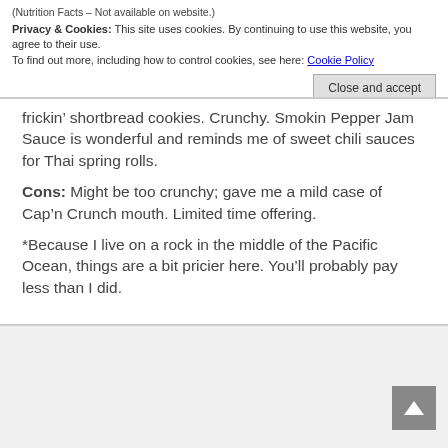(Nutrition Facts – Not available on website.)
Privacy & Cookies: This site uses cookies. By continuing to use this website, you agree to their use.
To find out more, including how to control cookies, see here: Cookie Policy
Close and accept
frickin’ shortbread cookies. Crunchy. Smokin Pepper Jam Sauce is wonderful and reminds me of sweet chili sauces for Thai spring rolls.
Cons: Might be too crunchy; gave me a mild case of Cap’n Crunch mouth. Limited time offering.

*Because I live on a rock in the middle of the Pacific Ocean, things are a bit pricier here. You’ll probably pay less than I did.